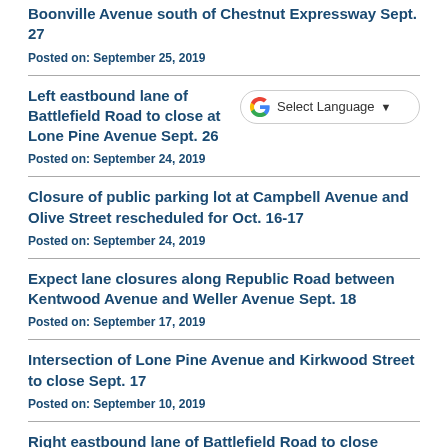Boonville Avenue south of Chestnut Expressway Sept. 27
Posted on: September 25, 2019
Left eastbound lane of Battlefield Road to close at Lone Pine Avenue Sept. 26
Posted on: September 24, 2019
Closure of public parking lot at Campbell Avenue and Olive Street rescheduled for Oct. 16-17
Posted on: September 24, 2019
Expect lane closures along Republic Road between Kentwood Avenue and Weller Avenue Sept. 18
Posted on: September 17, 2019
Intersection of Lone Pine Avenue and Kirkwood Street to close Sept. 17
Posted on: September 10, 2019
Right eastbound lane of Battlefield Road to close